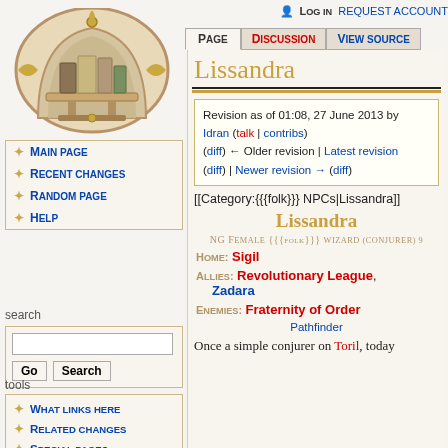Log in  request account
Page | Discussion | View source
[Figure (illustration): Wiki logo: circular ornate medallion with an open book on a shelf, gold/brown tones]
Main page
Recent changes
Random page
Help
search
What links here
Related changes
Special pages
Printable version
Lissandra
Revision as of 01:08, 27 June 2013 by Idran (talk | contribs) (diff) ← Older revision | Latest revision (diff) | Newer revision → (diff)
[[Category:{{{folk}}} NPCs|Lissandra]]
Lissandra
NG Female {{{folk}}} wizard (conjurer) 9
Home: Sigil
Allies: Revolutionary League, Zadara
Enemies: Fraternity of Order
Pathfinder
Once a simple conjurer on Toril, today